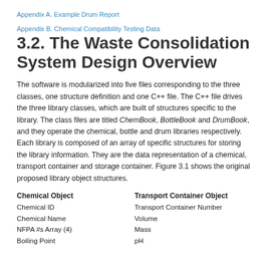Appendix A. Example Drum Report
Appendix B. Chemical Compatibility Testing Data
3.2. The Waste Consolidation System Design Overview
The software is modularized into five files corresponding to the three classes, one structure definition and one C++ file. The C++ file drives the three library classes, which are built of structures specific to the library. The class files are titled ChemBook, BottleBook and DrumBook, and they operate the chemical, bottle and drum libraries respectively. Each library is composed of an array of specific structures for storing the library information. They are the data representation of a chemical, transport container and storage container. Figure 3.1 shows the original proposed library object structures.
Chemical Object
Chemical ID
Chemical Name
NFPA #s Array (4)
Boiling Point
Transport Container Object
Transport Container Number
Volume
Mass
pH